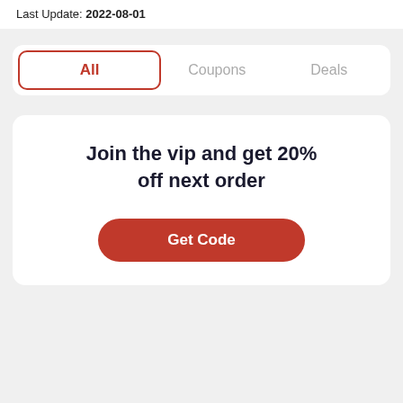Last Update: 2022-08-01
All | Coupons | Deals
Join the vip and get 20% off next order
Get Code